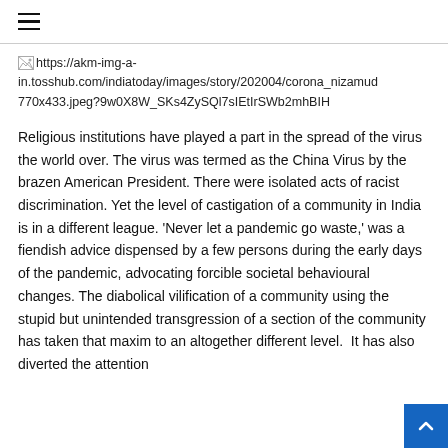☰
[Figure (other): Broken image placeholder showing URL: https://akm-img-a-in.tosshub.com/indiatoday/images/story/202004/corona_nizamud 770x433.jpeg?9w0X8W_SKs4ZySQl7sIEtIrSWb2mhBIH]
Religious institutions have played a part in the spread of the virus the world over. The virus was termed as the China Virus by the brazen American President. There were isolated acts of racist discrimination. Yet the level of castigation of a community in India is in a different league. 'Never let a pandemic go waste,' was a fiendish advice dispensed by a few persons during the early days of the pandemic, advocating forcible societal behavioural changes. The diabolical vilification of a community using the stupid but unintended transgression of a section of the community has taken that maxim to an altogether different level.  It has also diverted the attention